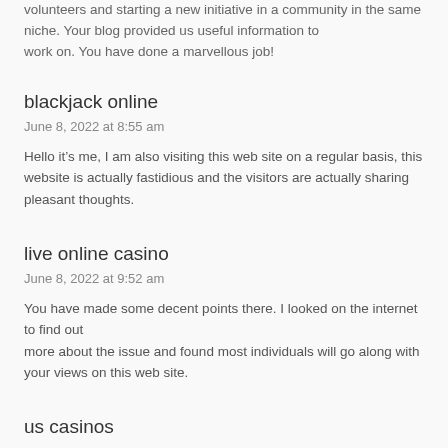volunteers and starting a new initiative in a community in the same niche. Your blog provided us useful information to work on. You have done a marvellous job!
blackjack online
June 8, 2022 at 8:55 am
Hello it’s me, I am also visiting this web site on a regular basis, this website is actually fastidious and the visitors are actually sharing pleasant thoughts.
live online casino
June 8, 2022 at 9:52 am
You have made some decent points there. I looked on the internet to find out more about the issue and found most individuals will go along with your views on this web site.
us casinos